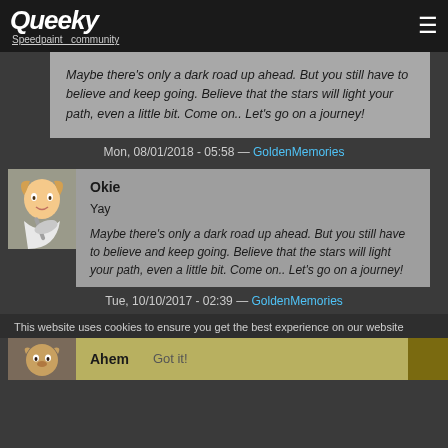Queeky Speedpaint community
Maybe there’s only a dark road up ahead. But you still have to believe and keep going. Believe that the stars will light your path, even a little bit. Come on.. Let’s go on a journey!
Mon, 08/01/2018 - 05:58 — GoldenMemories
[Figure (illustration): Anime girl with violin avatar]
Okie
Yay
Maybe there’s only a dark road up ahead. But you still have to believe and keep going. Believe that the stars will light your path, even a little bit. Come on.. Let’s go on a journey!
Tue, 10/10/2017 - 02:39 — GoldenMemories
This website uses cookies to ensure you get the best experience on our website
[Figure (illustration): Cartoon animal avatar]
Ahem
Got it!